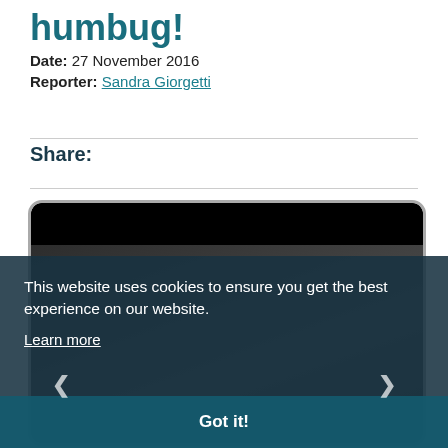humbug!
Date: 27 November 2016
Reporter: Sandra Giorgetti
Share:
[Figure (screenshot): Video player embedded in a webpage, showing a dark scene with people, partially obscured by a cookie consent overlay.]
This website uses cookies to ensure you get the best experience on our website.
Learn more
Got it!